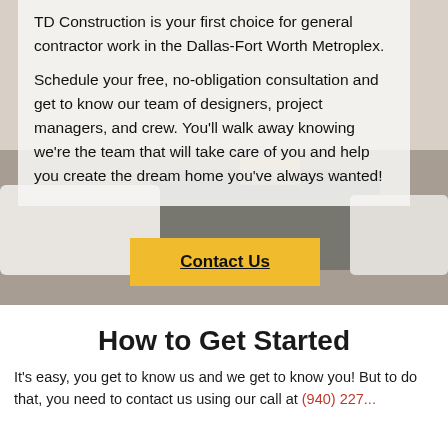[Figure (photo): Background photo of a living room floor with rugs (grey, white) partially visible behind a semi-transparent white overlay box.]
TD Construction is your first choice for general contractor work in the Dallas-Fort Worth Metroplex.
Schedule your free, no-obligation consultation and get to know our team of designers, project managers, and crew. You’ll walk away knowing we’re the team that will take care of you and help you create the dream home you’ve always wanted!
Contact Us
How to Get Started
It’s easy, you get to know us and we get to know you! But to do that, you need to contact us using our call at (940) 227...